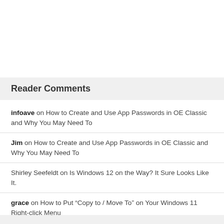Reader Comments
infoave on How to Create and Use App Passwords in OE Classic and Why You May Need To
Jim on How to Create and Use App Passwords in OE Classic and Why You May Need To
Shirley Seefeldt on Is Windows 12 on the Way? It Sure Looks Like It.
grace on How to Put “Copy to / Move To” on Your Windows 11 Right-click Menu
infoave on More Reasons Why You Should be Using uBlock Origin